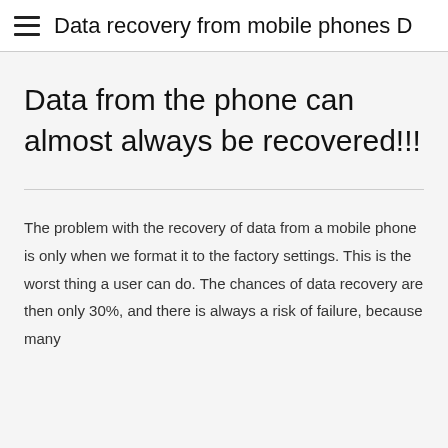Data recovery from mobile phones D…
Data from the phone can almost always be recovered!!!
The problem with the recovery of data from a mobile phone is only when we format it to the factory settings. This is the worst thing a user can do. The chances of data recovery are then only 30%, and there is always a risk of failure, because many